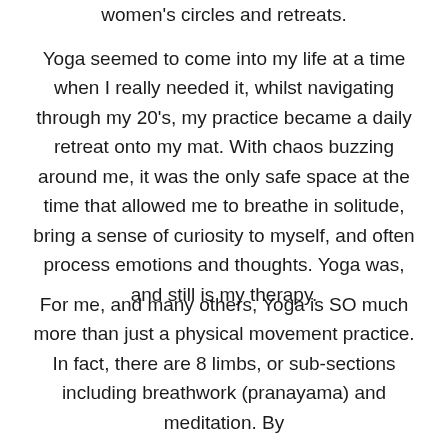women's circles and retreats.
Yoga seemed to come into my life at a time when I really needed it, whilst navigating through my 20's, my practice became a daily retreat onto my mat. With chaos buzzing around me, it was the only safe space at the time that allowed me to breathe in solitude, bring a sense of curiosity to myself, and often process emotions and thoughts. Yoga was, and still is my therapy.
For me, and many others, Yoga is SO much more than just a physical movement practice. In fact, there are 8 limbs, or sub-sections including breathwork (pranayama) and meditation. By